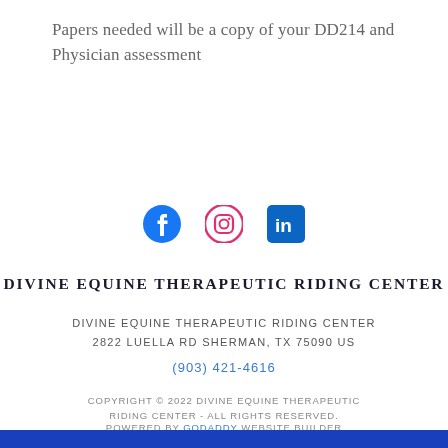Papers needed will be a copy of your DD214 and Physician assessment
[Figure (infographic): Social media icons: Facebook (blue circle with f), Instagram (pink/red camera icon outline), LinkedIn (blue square with in)]
DIVINE EQUINE THERAPEUTIC RIDING CENTER
DIVINE EQUINE THERAPEUTIC RIDING CENTER
2822 LUELLA RD SHERMAN, TX 75090 US
(903) 421-4616
COPYRIGHT © 2022 DIVINE EQUINE THERAPEUTIC RIDING CENTER - ALL RIGHTS RESERVED.
POWERED BY GODADDY WEBSITE BUILDER